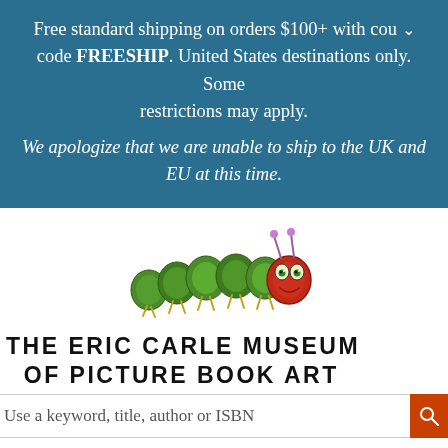Free standard shipping on orders $100+ with cou code FREESHIP. United States destinations only. Some restrictions may apply. We apologize that we are unable to ship to the UK and EU at this time.
[Figure (illustration): The Very Hungry Caterpillar illustration — a colorful caterpillar with green segmented body and red head with eyes, facing right]
THE ERIC CARLE MUSEUM OF PICTURE BOOK ART
Use a keyword, title, author or ISBN